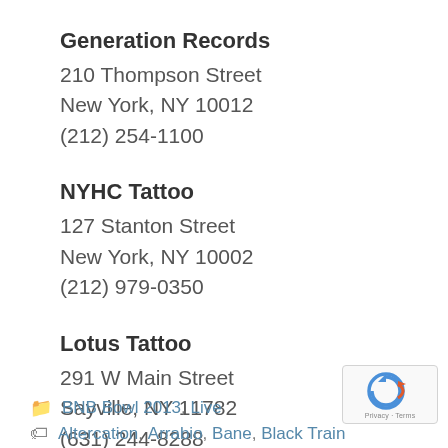Generation Records
210 Thompson Street
New York, NY 10012
(212) 254-1100
NYHC Tattoo
127 Stanton Street
New York, NY 10002
(212) 979-0350
Lotus Tattoo
291 W Main Street
Sayville, NY 11782
(631) 244-8288
BNB Bowl 2013, Live
Altercation, Arrabio, Bane, Black Train